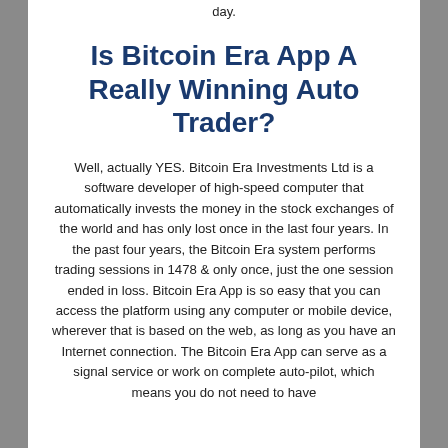day.
Is Bitcoin Era App A Really Winning Auto Trader?
Well, actually YES. Bitcoin Era Investments Ltd is a software developer of high-speed computer that automatically invests the money in the stock exchanges of the world and has only lost once in the last four years. In the past four years, the Bitcoin Era system performs trading sessions in 1478 & only once, just the one session ended in loss. Bitcoin Era App is so easy that you can access the platform using any computer or mobile device, wherever that is based on the web, as long as you have an Internet connection. The Bitcoin Era App can serve as a signal service or work on complete auto-pilot, which means you do not need to have